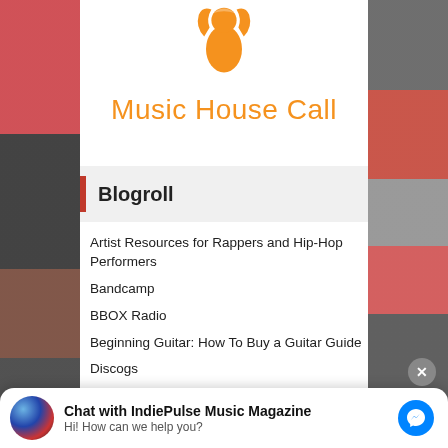[Figure (logo): Music House Call orange logo with stylized music note / person icon above the brand name]
Music House Call
Blogroll
Artist Resources for Rappers and Hip-Hop Performers
Bandcamp
BBOX Radio
Beginning Guitar: How To Buy a Guitar Guide
Discogs
Chat with IndiePulse Music Magazine
Hi! How can we help you?